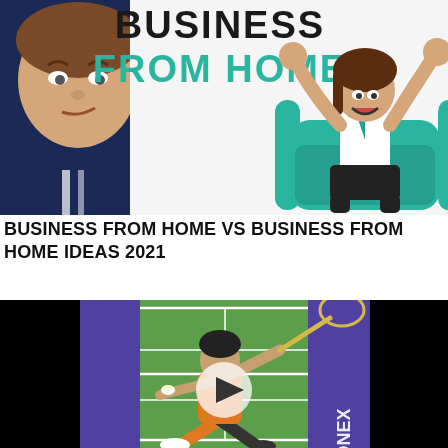[Figure (illustration): YouTube thumbnail showing a young man's face on the left and a cartoon woman celebrating in a teal armchair on the right, with the text 'BUSINESS FROM HOME' in bold black and teal letters]
BUSINESS FROM HOME VS BUSINESS FROM HOME IDEAS 2021
[Figure (screenshot): Video thumbnail showing a badminton player in action on a green court with black borders, a play button overlay in the center, and a Yonex logo visible]